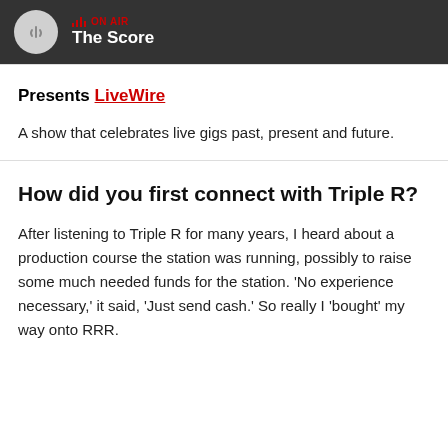ON AIR — The Score
Presents LiveWire
A show that celebrates live gigs past, present and future.
How did you first connect with Triple R?
After listening to Triple R for many years, I heard about a production course the station was running, possibly to raise some much needed funds for the station. 'No experience necessary,' it said, 'Just send cash.' So really I 'bought' my way onto RRR.